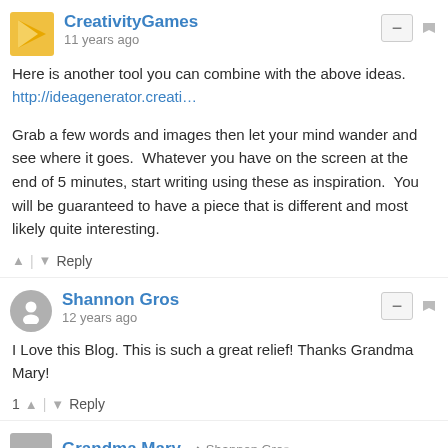CreativityGames
11 years ago
Here is another tool you can combine with the above ideas.
http://ideagenerator.creati…
Grab a few words and images then let your mind wander and see where it goes.  Whatever you have on the screen at the end of 5 minutes, start writing using these as inspiration.  You will be guaranteed to have a piece that is different and most likely quite interesting.
↑ | ↓ Reply
Shannon Gros
12 years ago
I Love this Blog. This is such a great relief! Thanks Grandma Mary!
1 ↑ | ↓ Reply
Grandma Mary → Shannon Gros